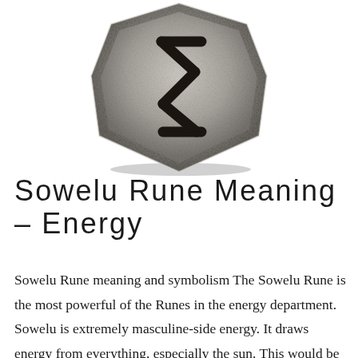[Figure (photo): A stone rune tile with the Sowelu rune symbol carved into it, shown in black and white. The stone has a rounded pentagonal shape and the rune symbol resembles a lightning bolt or stylized S.]
Sowelu Rune Meaning – Energy
Sowelu Rune meaning and symbolism The Sowelu Rune is the most powerful of the Runes in the energy department. Sowelu is extremely masculine-side energy. It draws energy from everything, especially the sun. This would be a